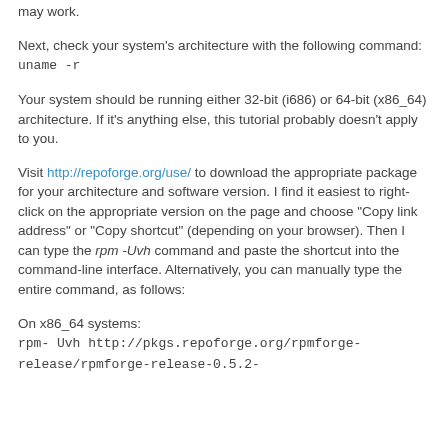may work.
Next, check your system's architecture with the following command:
uname -r
Your system should be running either 32-bit (i686) or 64-bit (x86_64) architecture. If it's anything else, this tutorial probably doesn't apply to you.
Visit http://repoforge.org/use/ to download the appropriate package for your architecture and software version. I find it easiest to right-click on the appropriate version on the page and choose "Copy link address" or "Copy shortcut" (depending on your browser). Then I can type the rpm -Uvh command and paste the shortcut into the command-line interface. Alternatively, you can manually type the entire command, as follows:
On x86_64 systems:
rpm- Uvh http://pkgs.repoforge.org/rpmforge-release/rpmforge-release-0.5.2-